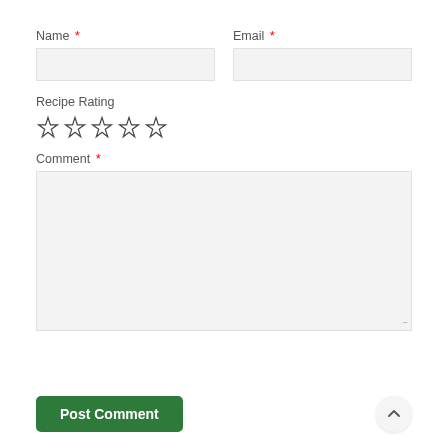Name *
Email *
Recipe Rating
[Figure (other): Five empty star icons for recipe rating]
Comment *
Post Comment